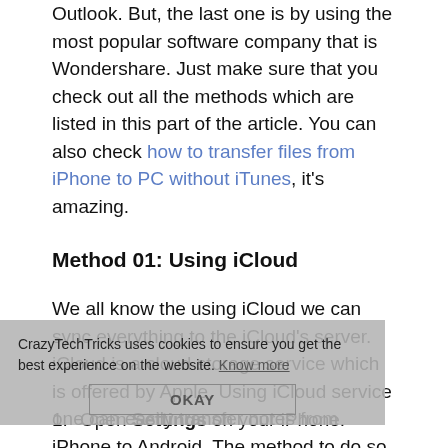Outlook. But, the last one is by using the most popular software company that is Wondershare. Just make sure that you check out all the methods which are listed in this part of the article. You can also check how to transfer files from iPhone to PC without iTunes, it's amazing.
Method 01: Using iCloud
We all know the using iCloud we can sync everything to the iCloud's server. iCloud is a cloud storage service which is offered by Apple. Using iCloud service one can easily transfer notes from iPhone to Android. The method to do so is stated below.
CrazyTechTricks uses cookies to ensure you get the best experience on the website. Know more [OKAY button]
1. Open Settings on your iPhone.